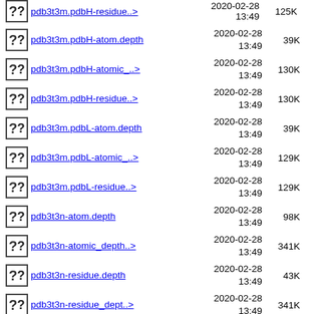pdb3t3m.pdbH-residue..> 2020-02-28 13:49 125K (partial, top cut off)
pdb3t3m.pdbH-atom.depth 2020-02-28 13:49 39K
pdb3t3m.pdbH-atomic_..> 2020-02-28 13:49 130K
pdb3t3m.pdbH-residue..> 2020-02-28 13:49 130K
pdb3t3m.pdbL-atom.depth 2020-02-28 13:49 39K
pdb3t3m.pdbL-atomic_..> 2020-02-28 13:49 129K
pdb3t3m.pdbL-residue..> 2020-02-28 13:49 129K
pdb3t3n-atom.depth 2020-02-28 13:49 98K
pdb3t3n-atomic_depth..> 2020-02-28 13:49 341K
pdb3t3n-residue.depth 2020-02-28 13:49 43K
pdb3t3n-residue_dept..> 2020-02-28 13:49 341K
pdb3t3n.pdb-complex 2020-02-28 13:49 333K (partial, bottom cut off)